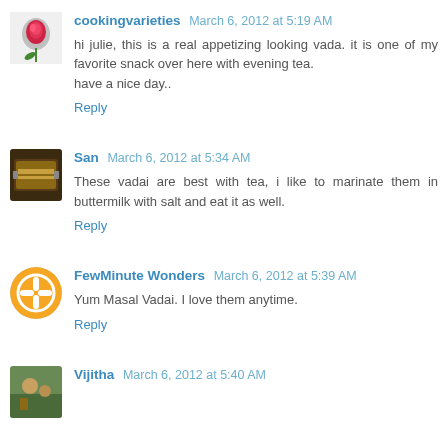cookingvarieties March 6, 2012 at 5:19 AM — hi julie, this is a real appetizing looking vada. it is one of my favorite snack over here with evening tea. have a nice day.. Reply
San March 6, 2012 at 5:34 AM — These vadai are best with tea, i like to marinate them in buttermilk with salt and eat it as well. Reply
FewMinute Wonders March 6, 2012 at 5:39 AM — Yum Masal Vadai. I love them anytime. Reply
Vijitha March 6, 2012 at 5:40 AM